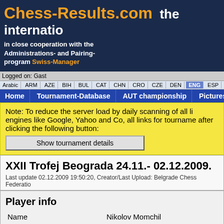Chess-Results.com  the internatio
in close cooperation with the Administrations- and Pairing-program Swiss-Manager
Logged on: Gast
Arabic | ARM | AZE | BIH | BUL | CAT | CHN | CRO | CZE | DEN | ENG | ESP | FAI | FIN | FRA | GER | GRE | INA
Home | Tournament-Database | AUT championship | Pictures | FAQ
Note: To reduce the server load by daily scanning of all li engines like Google, Yahoo and Co, all links for tourname after clicking the following button:
Show tournament details
XXII Trofej Beograda 24.11.- 02.12.2009.
Last update 02.12.2009 19:50:20, Creator/Last Upload: Belgrade Chess Federatio
Player info
| Field | Value |
| --- | --- |
| Name | Nikolov Momchil |
| Title | IM |
| Starting rank | 10 |
| Rating | 2529 |
| Rating national | 0 |
| Rating international | 2529 |